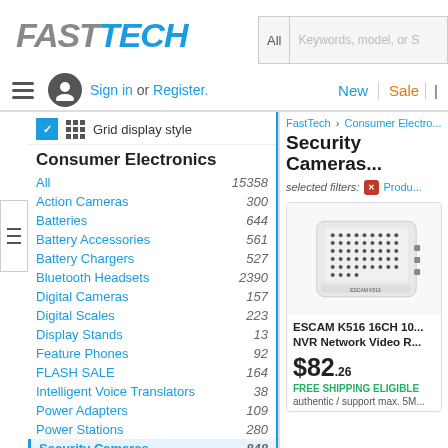[Figure (logo): FastTech logo with grey FAST and blue TECH text in italic bold]
[Figure (screenshot): Search box with All dropdown and Keywords, model, or S placeholder text]
Sign in or Register.
New | Sale |
Grid display style
Consumer Electronics
All  15358
Action Cameras  300
Batteries  644
Battery Accessories  561
Battery Chargers  527
Bluetooth Headsets  2390
Digital Cameras  157
Digital Scales  223
Display Stands  13
Feature Phones  92
FLASH SALE  164
Intelligent Voice Translators  38
Power Adapters  109
Power Stations  280
Security Cameras  848
FastTech › Consumer Electro...
Security Cameras...
selected filters:
Produ...
[Figure (photo): White ESCAM K516 NVR Network Video Recorder device with dot-matrix ventilation pattern]
ESCAM K516 16CH 10... NVR Network Video R...
$82.26
FREE SHIPPING ELIGIBLE
authentic / support max. 5M...